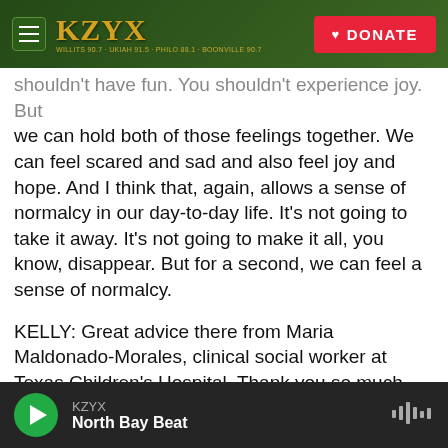KZYX | DONATE
shouldn't have fun. You shouldn't experience joy. But we can hold both of those feelings together. We can feel scared and sad and also feel joy and hope. And I think that, again, allows a sense of normalcy in our day-to-day life. It's not going to take it away. It's not going to make it all, you know, disappear. But for a second, we can feel a sense of normalcy.
KELLY: Great advice there from Maria Maldonado-Morales, clinical social worker at Texas Children's Hospital. Thank you so much.
MALDONALDO-MORALES: Thank you so much.
KZYX | North Bay Beat